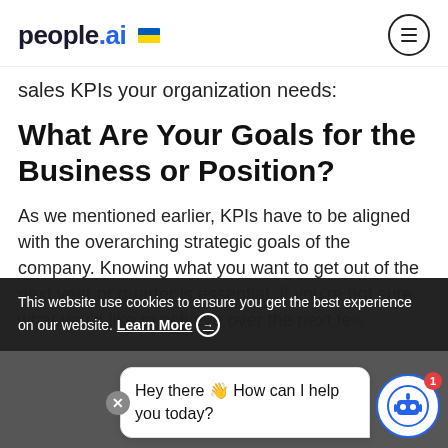people.ai
sales KPIs your organization needs:
What Are Your Goals for the Business or Position?
As we mentioned earlier, KPIs have to be aligned with the overarching strategic goals of the company. Knowing what you want to get out of the next year or quarter is essential. If you’re not sure what you’d like to achieve over the next few... and identify... like to...
This website use cookies to ensure you get the best experience on our website. Learn More →
Hey there 👋 How can I help you today?